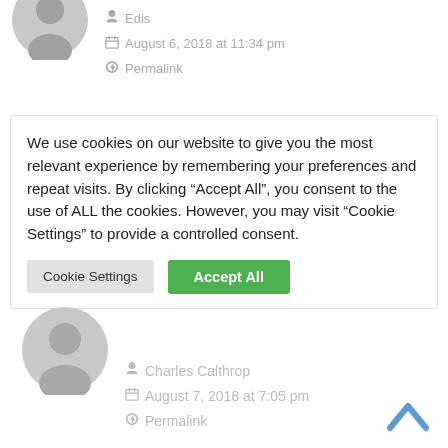[Figure (illustration): Gray user avatar icon (partial, top of page)]
Edis
August 6, 2018 at 11:34 pm
Permalink
We use cookies on our website to give you the most relevant experience by remembering your preferences and repeat visits. By clicking “Accept All”, you consent to the use of ALL the cookies. However, you may visit “Cookie Settings” to provide a controlled consent.
Cookie Settings | Accept All
[Figure (illustration): Gray user avatar icon for Charles Calthrop]
Charles Calthrop
August 7, 2018 at 7:05 pm
Permalink